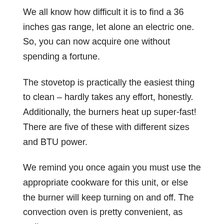We all know how difficult it is to find a 36 inches gas range, let alone an electric one. So, you can now acquire one without spending a fortune.
The stovetop is practically the easiest thing to clean – hardly takes any effort, honestly. Additionally, the burners heat up super-fast! There are five of these with different sizes and BTU power.
We remind you once again you must use the appropriate cookware for this unit, or else the burner will keep turning on and off. The convection oven is pretty convenient, as well.
It has 4-Cu. Ft. capacity, which is more than sufficient for a large family or group of people. Also, it comes with a clear porcelain oven surface for you to see the meals baking inside.
All in all, we believe it will satisfy your cooking needs to the max. Plus, the tough stainless steel design will add an elegant touch to your kitchen.